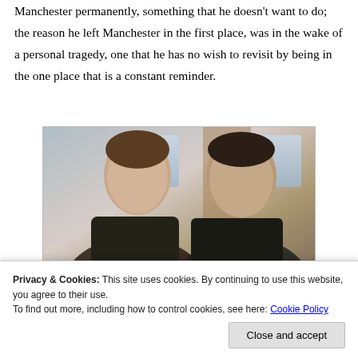Manchester permanently, something that he doesn't want to do; the reason he left Manchester in the first place, was in the wake of a personal tragedy, one that he has no wish to revisit by being in the one place that is a constant reminder.
[Figure (photo): Two men facing each other inside what appears to be a boat cabin. The younger man on the left has short brown hair, wearing a dark jacket. The older man on the right has darker hair and stubble, wearing a dark jacket. Background shows windows and wooden interior of a boat.]
Privacy & Cookies: This site uses cookies. By continuing to use this website, you agree to their use.
To find out more, including how to control cookies, see here: Cookie Policy
Close and accept